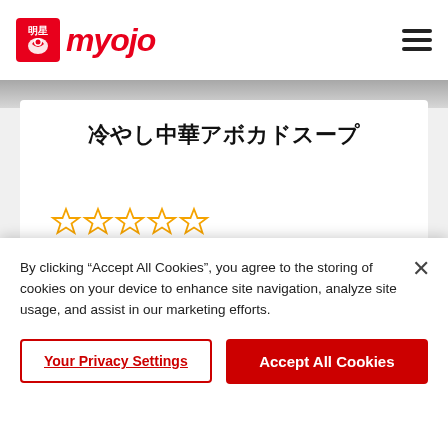[Figure (logo): Myojo ramen brand logo with red stylized bird icon and red italic 'myojo' text with Japanese characters]
冷やし中華アボカドスープ
[Figure (other): Five outlined star rating icons in golden/orange color, all empty (unrated)]
🕐 15 分
By clicking "Accept All Cookies", you agree to the storing of cookies on your device to enhance site navigation, analyze site usage, and assist in our marketing efforts.
Your Privacy Settings
Accept All Cookies